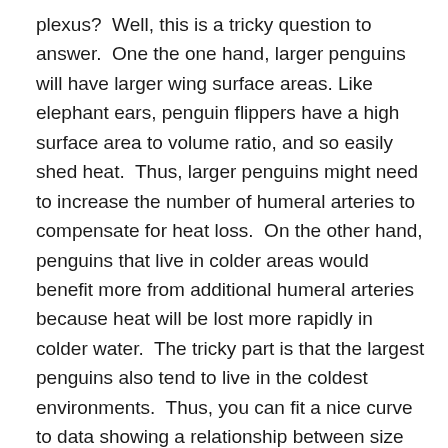plexus?  Well, this is a tricky question to answer.  One the one hand, larger penguins will have larger wing surface areas. Like elephant ears, penguin flippers have a high surface area to volume ratio, and so easily shed heat.  Thus, larger penguins might need to increase the number of humeral arteries to compensate for heat loss.  On the other hand, penguins that live in colder areas would benefit more from additional humeral arteries because heat will be lost more rapidly in colder water.  The tricky part is that the largest penguins also tend to live in the coldest environments.  Thus, you can fit a nice curve to data showing a relationship between size and artery number, and can fit a similarly nice curve to data showing a relationship between environmental temperature and artery number.  The authors of the study tested the strength of these relationships and found that humeral